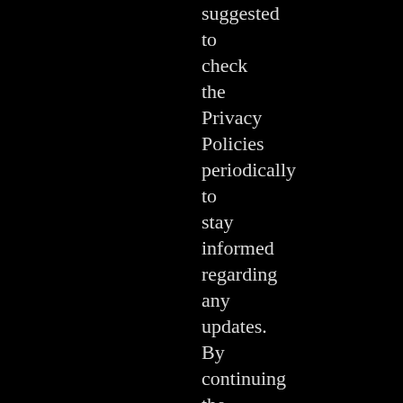suggested to check the Privacy Policies periodically to stay informed regarding any updates. By continuing the usage of the platform, the user signifies that he/she